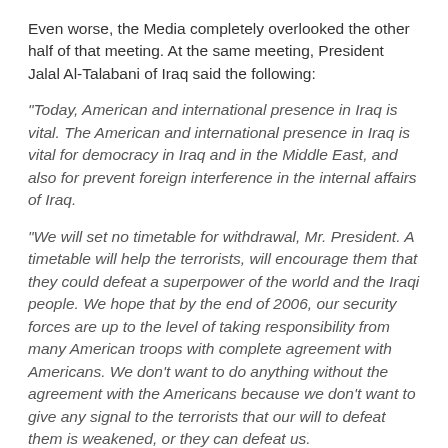Even worse, the Media completely overlooked the other half of that meeting. At the same meeting, President Jalal Al-Talabani of Iraq said the following:
"Today, American and international presence in Iraq is vital. The American and international presence in Iraq is vital for democracy in Iraq and in the Middle East, and also for prevent foreign interference in the internal affairs of Iraq.
"We will set no timetable for withdrawal, Mr. President. A timetable will help the terrorists, will encourage them that they could defeat a superpower of the world and the Iraqi people. We hope that by the end of 2006, our security forces are up to the level of taking responsibility from many American troops with complete agreement with Americans. We don't want to do anything without the agreement with the Americans because we don't want to give any signal to the terrorists that our will to defeat them is weakened, or they can defeat us.
"We are proud that one day will come -- as soon as possible, of course, we hope -- that American troops can proudly